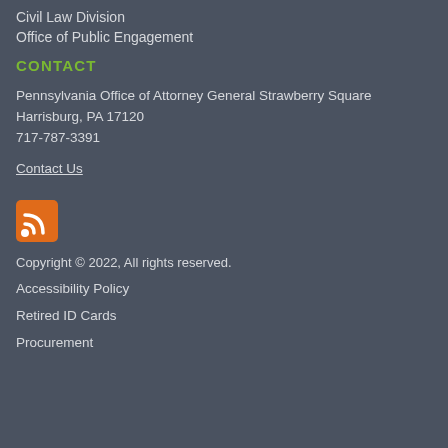Civil Law Division
Office of Public Engagement
CONTACT
Pennsylvania Office of Attorney General Strawberry Square
Harrisburg, PA 17120
717-787-3391
Contact Us
[Figure (other): RSS feed icon — orange square with white RSS signal symbol]
Copyright © 2022, All rights reserved.
Accessibility Policy
Retired ID Cards
Procurement